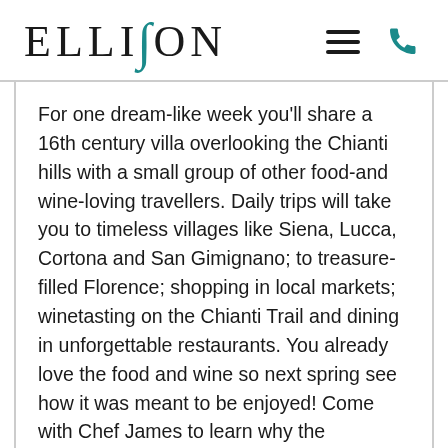[Figure (logo): Ellison logo with teal/green cursive 'S' character in the middle of the word ELLISON, in large serif font]
For one dream-like week you'll share a 16th century villa overlooking the Chianti hills with a small group of other food-and wine-loving travellers. Daily trips will take you to timeless villages like Siena, Lucca, Cortona and San Gimignano; to treasure-filled Florence; shopping in local markets; winetasting on the Chianti Trail and dining in unforgettable restaurants. You already love the food and wine so next spring see how it was meant to be enjoyed! Come with Chef James to learn why the